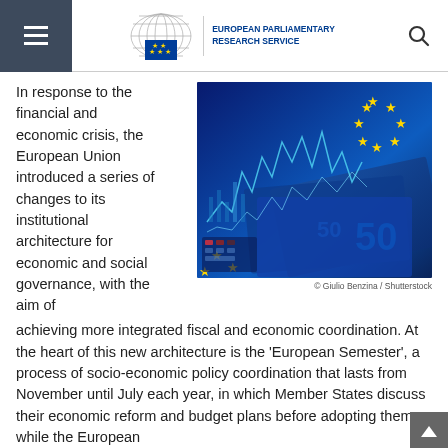European Parliamentary Research Service
In response to the financial and economic crisis, the European Union introduced a series of changes to its institutional architecture for economic and social governance, with the aim of achieving more integrated fiscal and economic coordination. At the heart of this new architecture is the 'European Semester', a process of socio-economic policy coordination that lasts from November until July each year, in which Member States discuss their economic reform and budget plans before adopting them, while the European institutions monitor progress and address recommendations...
[Figure (photo): Photo of Euro banknotes with EU flag stars and financial market chart overlay, blue tone]
© Giulio Benzina / Shutterstock